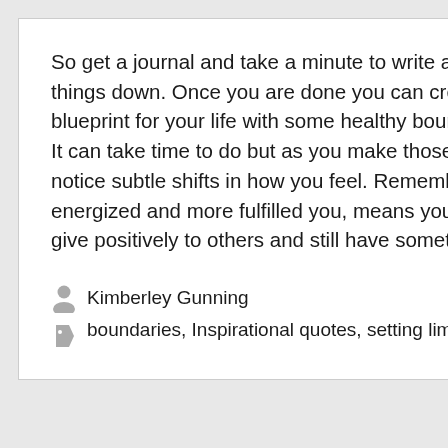So get a journal and take a minute to write a few of these things down. Once you are done you can create a new blueprint for your life with some healthy boundaries and limits.  It can take time to do but as you make those changes you will notice subtle shifts in how you feel. Remember that a happier, energized and more fulfilled you, means you are now able to give positively to others and still have something left for you.
Kimberley Gunning
boundaries, Inspirational quotes, setting limits